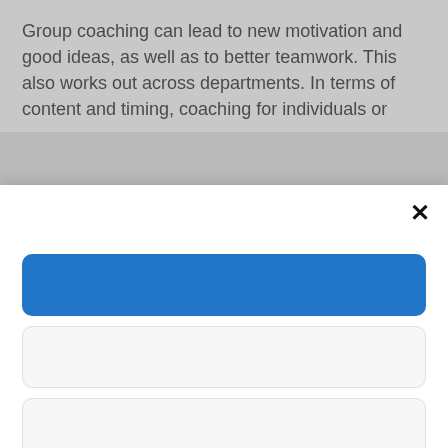Group coaching can lead to new motivation and good ideas, as well as to better teamwork. This also works out across departments. In terms of content and timing, coaching for individuals or
[Figure (screenshot): A modal dialog overlay with a close (×) button, a blue rounded rectangle button, and two white input field boxes with rounded corners and light borders.]
whole!
With successful coaching, the time invested leads to more satisfaction within the team and towards